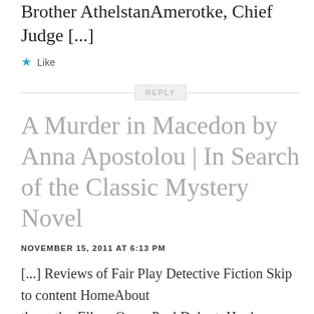Brother AthelstanAmerotke, Chief Judge [...]
★ Like
REPLY
A Murder in Macedon by Anna Apostolou | In Search of the Classic Mystery Novel
NOVEMBER 15, 2011 AT 6:13 PM
[...] Reviews of Fair Play Detective Fiction Skip to content HomeAbout
the authorEllery QueenPaul DohertyHugh CorbettT